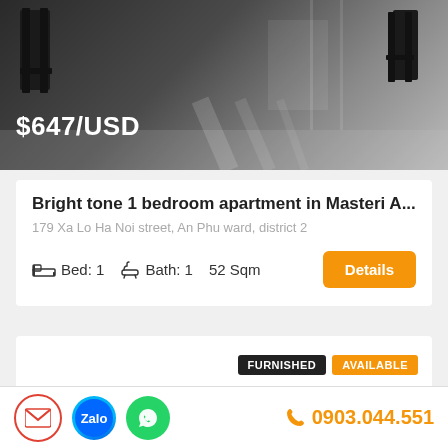[Figure (photo): Dark interior apartment photo showing dining chairs and light flooring]
$647/USD
Bright tone 1 bedroom apartment in Masteri A...
179 Xa Lo Ha Noi street, An Phu ward, district 2
Bed: 1   Bath: 1   52 Sqm
Details
FURNISHED   AVAILABLE
0903.044.551